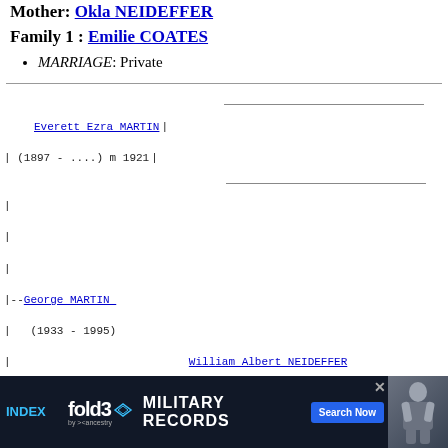Mother: Okla NEIDEFFER
Family 1 : Emilie COATES
MARRIAGE: Private
[Figure (other): Genealogical family tree showing Everett Ezra MARTIN (1897-....) m 1921, George MARTIN (1933-1995), Okla NEIDEFFER (1904-1981) m 1921, William Albert NEIDEFFER (1879-1951) m 1903, Ethel Beatrice MOORE (1883-1956) m 1903]
[Figure (infographic): Advertisement banner for fold3 Military Records by Ancestry with Search Now button]